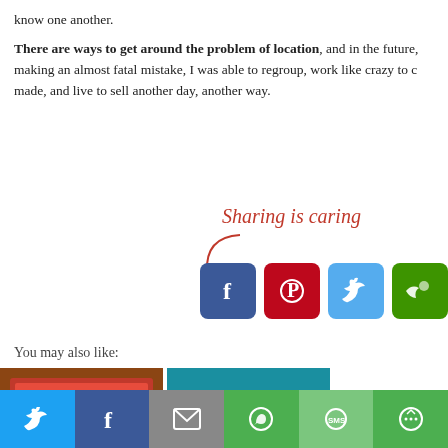know one another.

There are ways to get around the problem of location, and in the future, making an almost fatal mistake, I was able to regroup, work like crazy to c made, and live to sell another day, another way.
[Figure (infographic): Sharing is caring callout with social media icons: Facebook, Pinterest, Twitter, and a partially visible green icon. A red cursive label 'Sharing is caring' with an arrow pointing to the icons.]
You may also like:
[Figure (photo): Photo of a cheesy tomato casserole dish]
[Figure (illustration): Illustration of hands exchanging a copyright document for money on a teal background]
[Figure (screenshot): Partial text showing 'aisin' in light blue and 'Knead th' in bold black]
[Figure (infographic): Bottom sharing bar with Twitter, Facebook, Email, WhatsApp, SMS, and More buttons in respective brand colors]